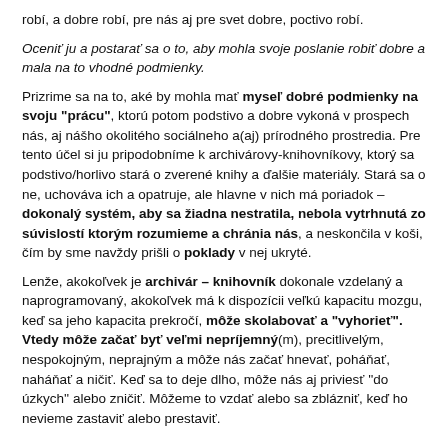robí, a dobre robí, pre nás aj pre svet dobre, poctivo robí.
Oceniť ju a postarať sa o to, aby mohla svoje poslanie robiť dobre a mala na to vhodné podmienky.
Prizrime sa na to, aké by mohla mať myseľ dobré podmienky na svoju "prácu", ktorú potom podstivo a dobre vykoná v prospech nás, aj nášho okolitého sociálneho a(aj) prírodného prostredia. Pre tento účel si ju pripodobníme k archivárovy-knihovníkovy, ktorý sa podstivo/horlivo stará o zverené knihy a ďalšie materiály. Stará sa o ne, uchováva ich a opatruje, ale hlavne v nich má poriadok – dokonalý systém, aby sa žiadna nestratila, nebola vytrhnutá zo súvislostí ktorým rozumieme a chránia nás, a neskončila v koši, čím by sme navždy prišli o poklady v nej ukryté.
Lenže, akokoľvek je archivár – knihovník dokonale vzdelaný a naprogramovaný, akokoľvek má k dispozícii veľkú kapacitu mozgu, keď sa jeho kapacita prekročí, môže skolabovať a "vyhorieť". Vtedy môže začať byť veľmi nepríjemný(m), precitlivelým, nespokojným, neprajným a môže nás začať hnevať, poháňať, naháňať a ničiť. Keď sa to deje dlho, môže nás aj priviesť ''do úzkych'' alebo zničiť. Môžeme to vzdať alebo sa zblázniť, keď ho nevieme zastaviť alebo prestaviť.